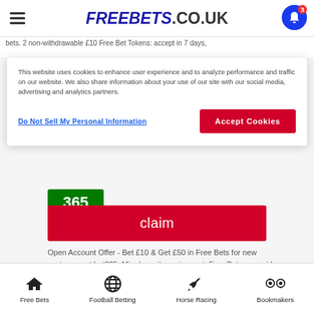FREEBETS.CO.UK
This website uses cookies to enhance user experience and to analyze performance and traffic on our website. We also share information about your use of our site with our social media, advertising and analytics partners.
Do Not Sell My Personal Information
Accept Cookies
claim
Open Account Offer - Bet £10 & Get £50 in Free Bets for new customers at bet365. Min deposit requirement. Free Bets are paid as Bet Credits and are available for use upon settlement of bets to the value of the qualifying deposit. Min odds, bet and payment method exclusions apply. Returns exclude Bet Credits stake. Time limits and T&Cs apply.
Free Bets  Football Betting  Horse Racing  Bookmakers